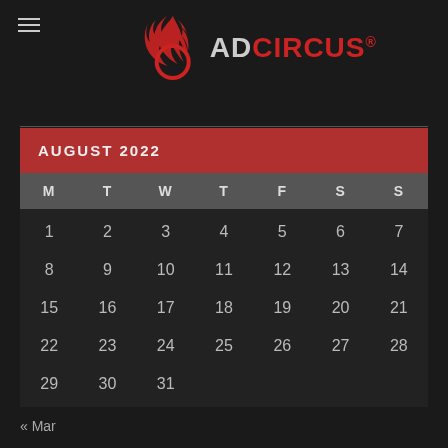[Figure (logo): AdCircus logo with flame/ring icon and text ADCIRCUS with registered trademark symbol]
| M | T | W | T | F | S | S |
| --- | --- | --- | --- | --- | --- | --- |
| 1 | 2 | 3 | 4 | 5 | 6 | 7 |
| 8 | 9 | 10 | 11 | 12 | 13 | 14 |
| 15 | 16 | 17 | 18 | 19 | 20 | 21 |
| 22 | 23 | 24 | 25 | 26 | 27 | 28 |
| 29 | 30 | 31 |  |  |  |  |
« Mar